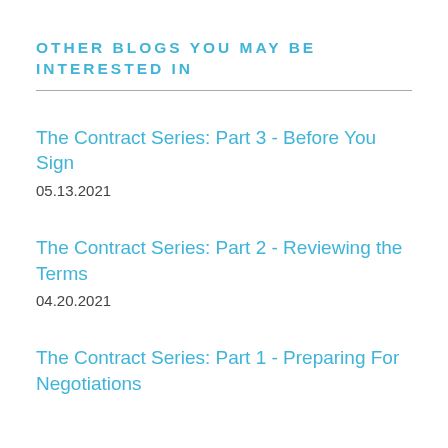OTHER BLOGS YOU MAY BE INTERESTED IN
The Contract Series: Part 3 - Before You Sign
05.13.2021
The Contract Series: Part 2 - Reviewing the Terms
04.20.2021
The Contract Series: Part 1 - Preparing For Negotiations